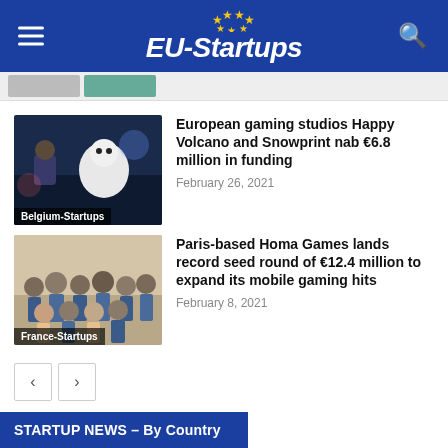[Figure (logo): EU-Startups logo with blue background, yellow stars, and white italic text]
European gaming studios Happy Volcano and Snowprint nab €6.8 million in funding
February 26, 2021
Paris-based Homa Games lands record seed round of €12.4 million to expand its mobile gaming hits
February 8, 2021
STARTUP NEWS – By Country